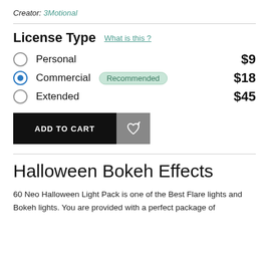Creator: 3Motional
License Type  What is this ?
Personal  $9
Commercial  Recommended  $18
Extended  $45
ADD TO CART
Halloween Bokeh Effects
60 Neo Halloween Light Pack is one of the Best Flare lights and Bokeh lights. You are provided with a perfect package of